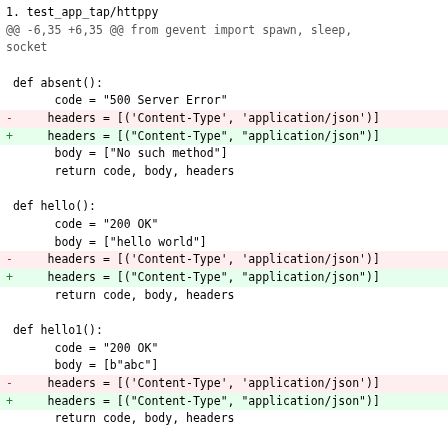1. test_app_tap/httppy
@@ -6,35 +6,35 @@ from gevent import spawn, sleep, socket
def absent():
    code = "500 Server Error"
-   headers = [('Content-Type', 'application/json')]
+   headers = [("Content-Type", "application/json")]
    body = ["No such method"]
    return code, body, headers
def hello():
    code = "200 OK"
    body = ["hello world"]
-   headers = [('Content-Type', 'application/json')]
+   headers = [("Content-Type", "application/json")]
    return code, body, headers
def hello1():
    code = "200 OK"
    body = [b"abc"]
-   headers = [('Content-Type', 'application/json')]
+   headers = [("Content-Type", "application/json")]
    return code, body, headers
def headers():
    code = "200 OK"
    body = [b"cookies"]
-   headers = [('Content-Type', 'application/json'),
-               ('Content-Type', 'application/yaml'),
-               ('Set-Cookie', 'likes-cheese;